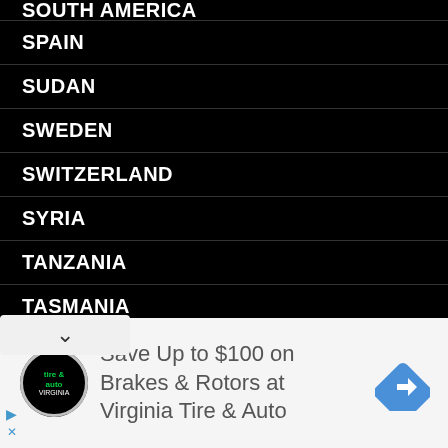SOUTH AMERICA (partial, top)
SPAIN
SUDAN
SWEDEN
SWITZERLAND
SYRIA
TANZANIA
TASMANIA
THAILAND
TURKEY (partial, bottom)
[Figure (screenshot): Scroll-down button with chevron arrow]
[Figure (infographic): Advertisement banner: Save Up to $100 on Brakes & Rotors at Virginia Tire & Auto, with Virginia Tire & Auto logo and Google Maps icon]